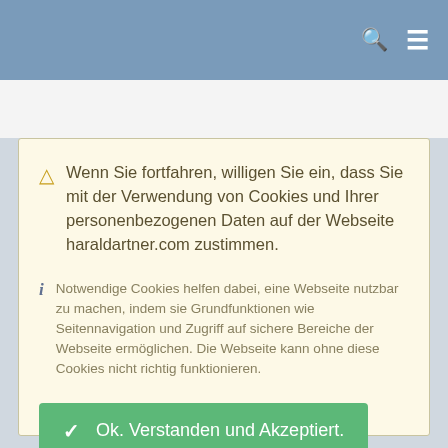[Figure (screenshot): Navigation bar with search icon and hamburger menu on steel blue background]
Wenn Sie fortfahren, willigen Sie ein, dass Sie mit der Verwendung von Cookies und Ihrer personenbezogenen Daten auf der Webseite haraldartner.com zustimmen.
Notwendige Cookies helfen dabei, eine Webseite nutzbar zu machen, indem sie Grundfunktionen wie Seitennavigation und Zugriff auf sichere Bereiche der Webseite ermöglichen. Die Webseite kann ohne diese Cookies nicht richtig funktionieren.
Ok. Verstanden und Akzeptiert.
Datenschutz / Cookie-Richtlinie